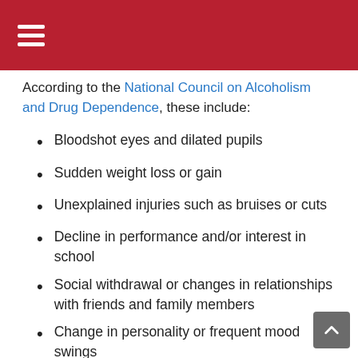≡
According to the National Council on Alcoholism and Drug Dependence, these include:
Bloodshot eyes and dilated pupils
Sudden weight loss or gain
Unexplained injuries such as bruises or cuts
Decline in performance and/or interest in school
Social withdrawal or changes in relationships with friends and family members
Change in personality or frequent mood swings